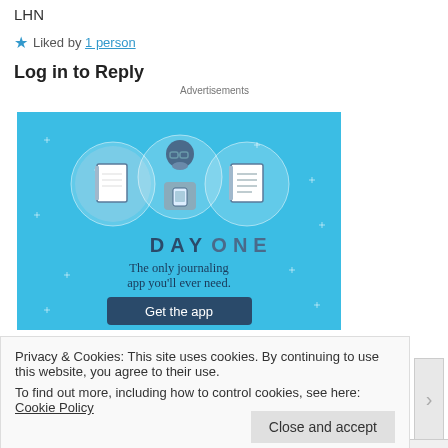LHN
Liked by 1 person
Log in to Reply
Advertisements
[Figure (illustration): Day One journaling app advertisement on blue background. Shows three circular icons: a blank notebook, a person using a phone, and a lined notebook. Text reads 'DAY ONE - The only journaling app you'll ever need.' with a dark 'Get the app' button.]
Privacy & Cookies: This site uses cookies. By continuing to use this website, you agree to their use.
To find out more, including how to control cookies, see here: Cookie Policy
Close and accept